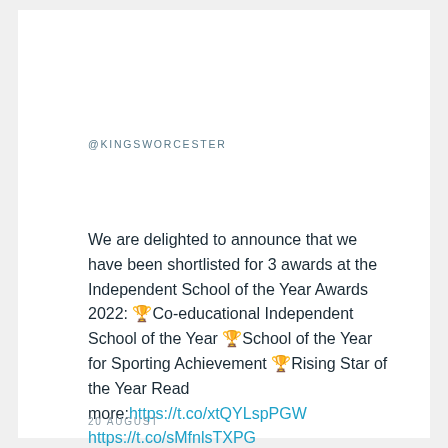@KINGSWORCESTER
We are delighted to announce that we have been shortlisted for 3 awards at the Independent School of the Year Awards 2022: 🏆Co-educational Independent School of the Year 🏆School of the Year for Sporting Achievement 🏆Rising Star of the Year Read more:https://t.co/xtQYLspPGW https://t.co/sMfnlsTXPG
20 AUGUST